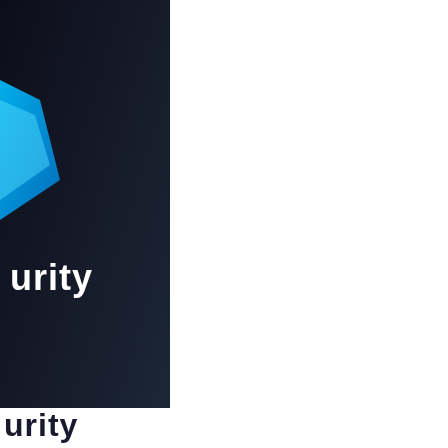[Figure (photo): Partial view of a dark-themed image/cover with a blue geometric shape on the left side and bold white text reading 'urity' (partial word, likely 'Security') on a dark background. The image occupies the top-left portion of the page.]
urity